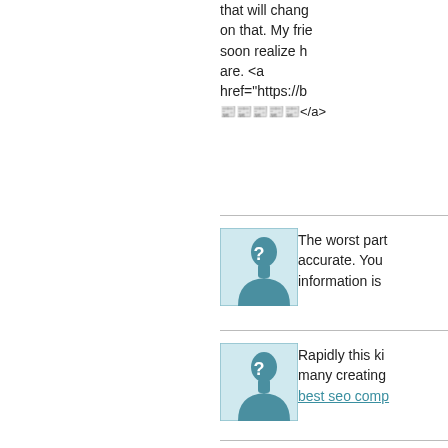that will chang on that. My frie soon realize h are. <a href="https://b 📰📰📰📰📰</a>
[Figure (illustration): User avatar placeholder - silhouette of a person with question mark]
The worst part accurate. You information is
[Figure (illustration): User avatar placeholder - silhouette of a person with question mark]
Rapidly this ki many creating best seo comp
[Figure (illustration): User avatar placeholder - silhouette of a person with question mark]
Know expiry o Next day deliv
[Figure (illustration): User avatar placeholder - silhouette of a person with question mark]
Browse THC V